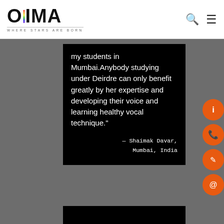[Figure (logo): OVIMA logo with rainbow vertical bar in V, tagline WHERE STARS ARE BORN]
my students in Mumbai.Anybody studying under Deirdre can only benefit greatly by her expertise and developing their voice and learning healthy vocal technique."
— Shaimak Davar, Mumbai, India